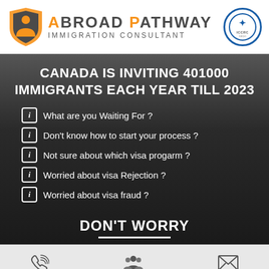[Figure (logo): Abroad Pathway Immigration Consultant logo with orange and grey shield icon and ICCRC badge]
CANADA IS INVITING 401000 IMMIGRANTS EACH YEAR TILL 2023
What are you Waiting For ?
Don't know how to start your process ?
Not sure about which visa progarm ?
Worried about visa Rejection ?
Worried about visa fraud ?
DON'T WORRY
Call    Enquiry Now    Email